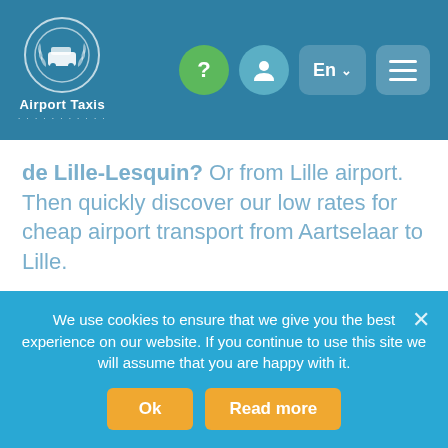[Figure (logo): Airport Taxis logo with circular emblem and text]
Airport Taxis — En navigation header with help, account, language, and menu buttons
de Lille-Lesquin? Or from Lille airport. Then quickly discover our low rates for cheap airport transport from Aartselaar to Lille.
Low-cost private taxi service for airport transfers from Aartselaar – now with fixed prices !
We use cookies to ensure that we give you the best experience on our website. If you continue to use this site we will assume that you are happy with it.